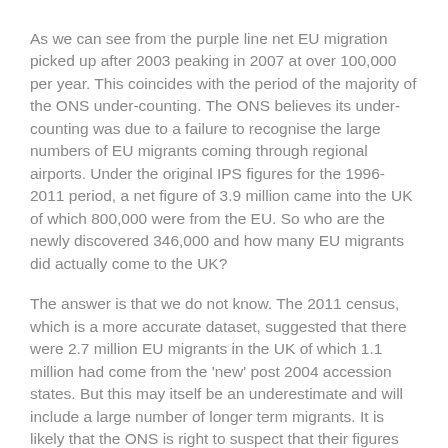As we can see from the purple line net EU migration picked up after 2003 peaking in 2007 at over 100,000 per year. This coincides with the period of the majority of the ONS under-counting. The ONS believes its under-counting was due to a failure to recognise the large numbers of EU migrants coming through regional airports. Under the original IPS figures for the 1996-2011 period, a net figure of 3.9 million came into the UK of which 800,000 were from the EU. So who are the newly discovered 346,000 and how many EU migrants did actually come to the UK?
The answer is that we do not know. The 2011 census, which is a more accurate dataset, suggested that there were 2.7 million EU migrants in the UK of which 1.1 million had come from the 'new' post 2004 accession states. But this may itself be an underestimate and will include a large number of longer term migrants. It is likely that the ONS is right to suspect that their figures for EU migrants were underestimated but unless the UK starts counting people in and out we will never accurately know.